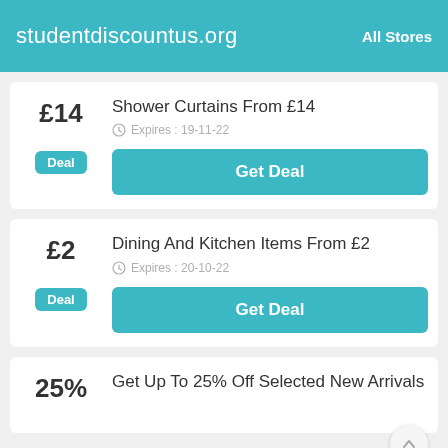studentdiscountus.org   All Stores
£14
Shower Curtains From £14
Expires : 19-11-22
Deal
Get Deal
£2
Dining And Kitchen Items From £2
Expires : 20-10-22
Deal
Get Deal
25%
Get Up To 25% Off Selected New Arrivals